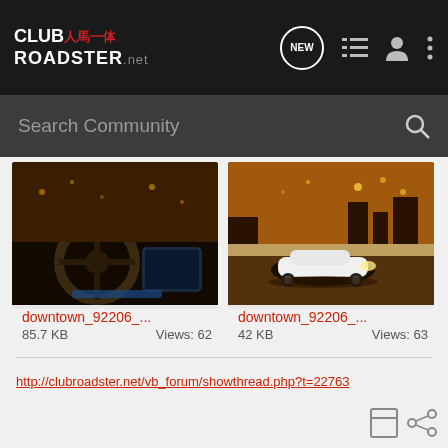CLUB人馬一体 ROADSTER.net — Navigation bar with search
[Figure (screenshot): Car interior photo showing steering wheel and dashboard with blue accent lights, dark interior at night]
downtown_92206_...
85.7 KB    Views: 62
[Figure (photo): White convertible roadster car on a road at night with orange-lit sky and city lights in background]
downtown_92206_...
42 KB    Views: 63
http://clubroadster.net/vb_forum/showthread.php?t=22763